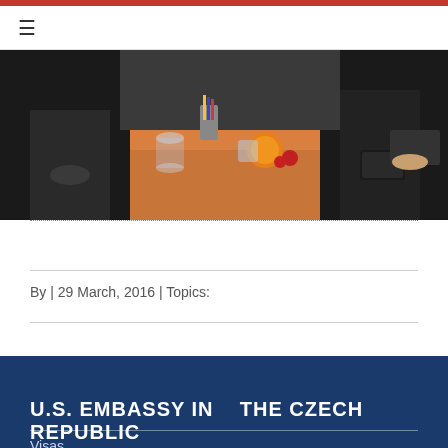☰
[Figure (photo): People sitting around a conference table with food and drinks, taken in an office/meeting room setting.]
By | 29 March, 2016 | Topics:
U.S. EMBASSY IN   THE CZECH REPUBLIC
Visas